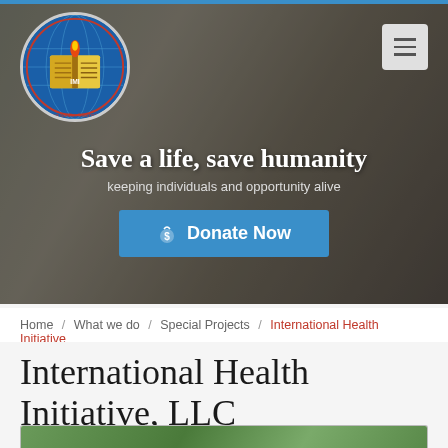[Figure (logo): Imama Medics International circular logo with globe, flame, and open book with text IMI]
[Figure (photo): Hero banner photo showing hands/person in grey tones with dark overlay]
Save a life, save humanity
keeping individuals and opportunity alive
Donate Now
Home / What we do / Special Projects / International Health Initiative
International Health Initiative, LLC
[Figure (photo): Partial bottom image strip showing outdoor scene]